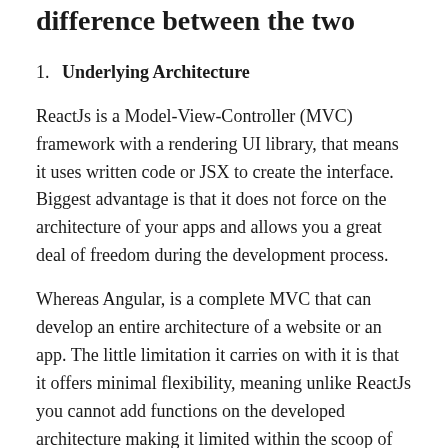difference between the two
1. Underlying Architecture
ReactJs is a Model-View-Controller (MVC) framework with a rendering UI library, that means it uses written code or JSX to create the interface. Biggest advantage is that it does not force on the architecture of your apps and allows you a great deal of freedom during the development process.
Whereas Angular, is a complete MVC that can develop an entire architecture of a website or an app. The little limitation it carries on with it is that it offers minimal flexibility, meaning unlike ReactJs you cannot add functions on the developed architecture making it limited within the scoop of the tools.